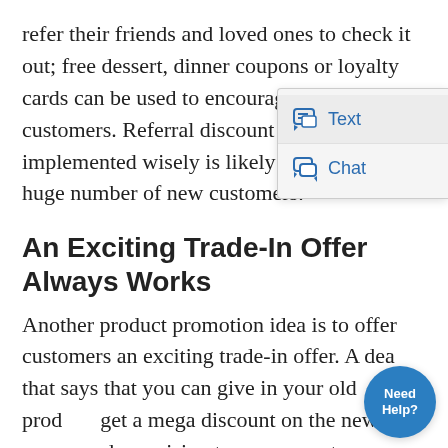refer their friends and loved ones to check it out; free dessert, dinner coupons or loyalty cards can be used to encourage such customers. Referral discount strategy if implemented wisely is likely to bring you a huge number of new customers.
[Figure (screenshot): A popup widget overlay showing two chat options: 'Text' and 'Chat', each with a speech-bubble icon, on a light grey background.]
An Exciting Trade-In Offer Always Works
Another product promotion idea is to offer customers an exciting trade-in offer. A deal that says that you can give in your old product, get a mega discount on the new one will sound promising to your repeat customers.
[Figure (infographic): A circular blue 'Need Help?' button/badge overlaid on the bottom-right of the page.]